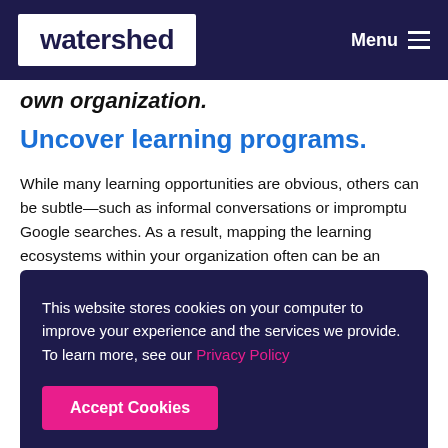watershed   Menu
own organization.
Uncover learning programs.
While many learning opportunities are obvious, others can be subtle—such as informal conversations or impromptu Google searches. As a result, mapping the learning ecosystems within your organization often can be an
This website stores cookies on your computer to improve your experience and the services we provide. To learn more, see our Privacy Policy
Accept Cookies
have its own learning ecosystem, although you'll likely